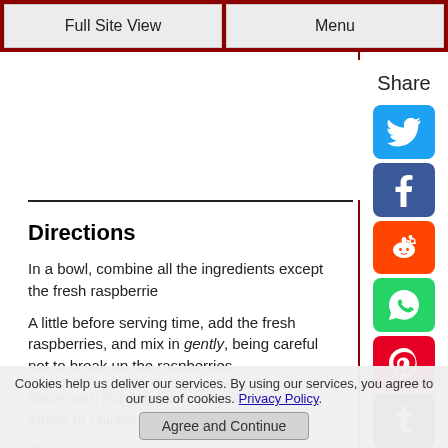Full Site View | Menu
Directions
In a bowl, combine all the ingredients except the fresh raspberrie
A little before serving time, add the fresh raspberries, and mix in gently, being careful not to break up the raspberries.
Serve with hot dogs, or use as a salsa on turkey or chicken!
This recipe is a welcome change from "regular" condiments. Be sure to
Cookies help us deliver our services. By using our services, you agree to our use of cookies. Privacy Policy.
Agree and Continue